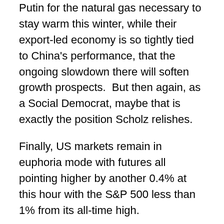Putin for the natural gas necessary to stay warm this winter, while their export-led economy is so tightly tied to China's performance, that the ongoing slowdown there will soften growth prospects.  But then again, as a Social Democrat, maybe that is exactly the position Scholz relishes.
Finally, US markets remain in euphoria mode with futures all pointing higher by another 0.4% at this hour with the S&P 500 less than 1% from its all-time high.
The bond market, this morning, is showing no clarity whatsoever.  Treasury yields, after backing up 5bps yesterday, are actually lower by 0.8bps despite the positive look from equities.  Bunds and OATs are little changed while Gilts (-1.4bps) are showing the most strength.  Perhaps of more interest are the PIGS, where